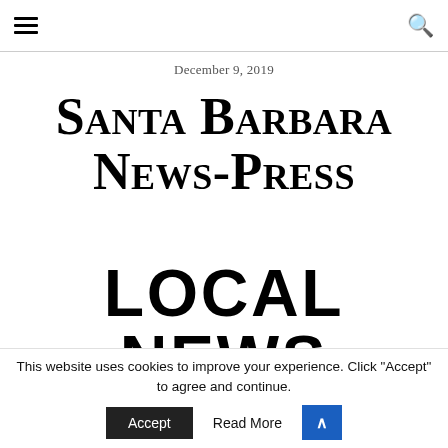≡ [hamburger menu] [search icon]
December 9, 2019
Santa Barbara News-Press
LOCAL NEWS
This website uses cookies to improve your experience. Click "Accept" to agree and continue.